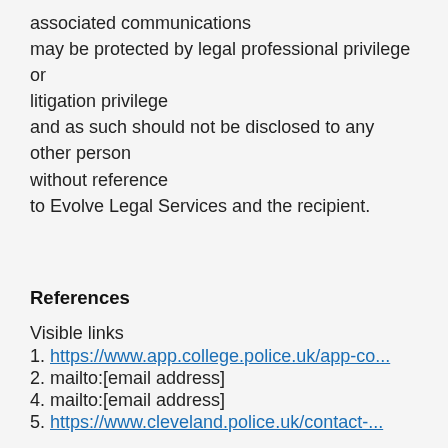associated communications
may be protected by legal professional privilege or litigation privilege
and as such should not be disclosed to any other person without reference
to Evolve Legal Services and the recipient.
References
Visible links
1. https://www.app.college.police.uk/app-co...
2. mailto:[email address]
4. mailto:[email address]
5. https://www.cleveland.police.uk/contact-...